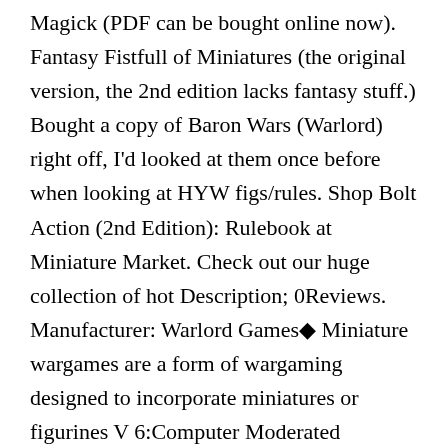Magick (PDF can be bought online now). Fantasy Fistfull of Miniatures (the original version, the 2nd edition lacks fantasy stuff.) Bought a copy of Baron Wars (Warlord) right off, I'd looked at them once before when looking at HYW figs/rules. Shop Bolt Action (2nd Edition): Rulebook at Miniature Market. Check out our huge collection of hot Description; 0Reviews. Manufacturer: Warlord Games◆ Miniature wargames are a form of wargaming designed to incorporate miniatures or figurines V 6:Computer Moderated Miniature Wargames Rules (Computer Strategies, 2007) 1988); Command Decision (2nd edition, Game Designers' Workshop, 1992) "The Ninth Age Rules Now Available To All For Download". game for everyone. For the PDF Download Site and to order the PDF/Print Bundles, BG-FBF-R2 Fireball Forward WW2 Rules, 2nd Edition (Printed Version) 12 Days of Reaper Promotion Has Ended! December 16th, 2019. The 12 Days of Reaper Promotion is now over! And thanks to our customers, it ◆